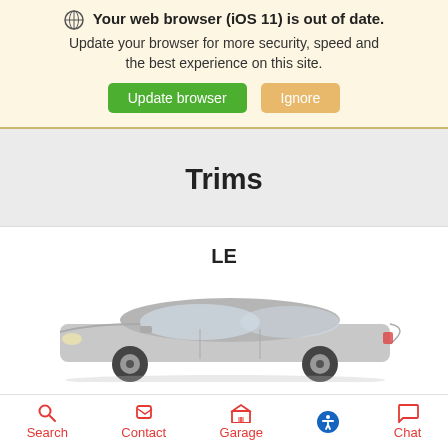🌐 Your web browser (iOS 11) is out of date. Update your browser for more security, speed and the best experience on this site. [Update browser] [Ignore]
Trims
LE
[Figure (photo): Silver/gray sedan car (Toyota Camry-style) viewed from the front-left angle, partially cropped at the bottom]
Search  Contact  Garage  [accessibility icon]  Chat